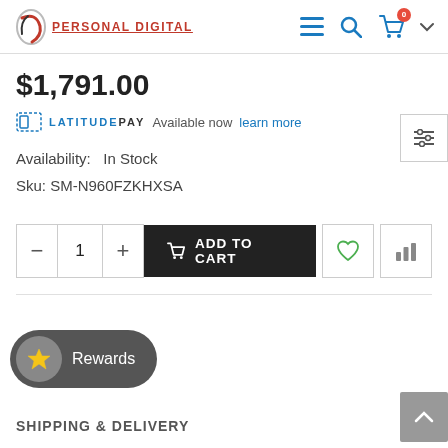PERSONAL DIGITAL
$1,791.00
LATITUDEPAY Available now learn more
Availability:  In Stock
Sku: SM-N960FZKHXSA
[Figure (other): Add to cart controls: quantity selector with minus/1/plus buttons, ADD TO CART button, wishlist heart button, compare bar chart button]
Rewards
SHIPPING & DELIVERY